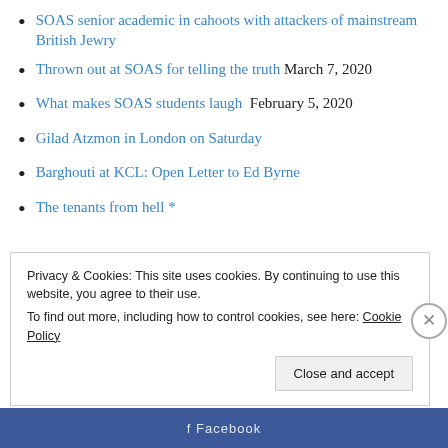SOAS senior academic in cahoots with attackers of mainstream British Jewry
Thrown out at SOAS for telling the truth  March 7, 2020
What makes SOAS students laugh  February 5, 2020
Gilad Atzmon in London on Saturday
Barghouti at KCL: Open Letter to Ed Byrne
The tenants from hell *
Privacy & Cookies: This site uses cookies. By continuing to use this website, you agree to their use.
To find out more, including how to control cookies, see here: Cookie Policy
Close and accept